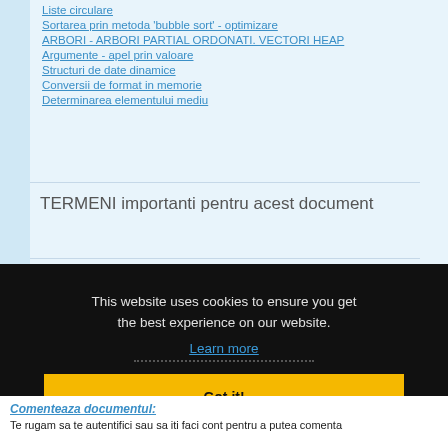Liste circulare
Sortarea prin metoda 'bubble sort' - optimizare
ARBORI - ARBORI PARTIAL ORDONATI. VECTORI HEAP
Argumente - apel prin valoare
Structuri de date dinamice
Conversii de format in memorie
Determinarea elementului mediu
TERMENI importanti pentru acest document
This website uses cookies to ensure you get the best experience on our website.
Learn more
Got it!
Comenteaza documentul:
Te rugam sa te autentifici sau sa iti faci cont pentru a putea comenta